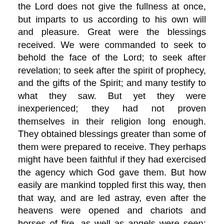the Lord does not give the fullness at once, but imparts to us according to his own will and pleasure. Great were the blessings received. We were commanded to seek to behold the face of the Lord; to seek after revelation; to seek after the spirit of prophecy, and the gifts of the Spirit; and many testify to what they saw. But yet they were inexperienced; they had not proven themselves in their religion long enough. They obtained blessings greater than some of them were prepared to receive. They perhaps might have been faithful if they had exercised the agency which God gave them. But how easily are mankind toppled first this way, then that way, and are led astray, even after the heavens were opened and chariots and horses of fire, as well as angels were seen: still many of these brethren apostatized.

Now perhaps some of you may say, “Withhold these things; do not send angels; do not bestow the gifts of prophecy, if by being so blessed we are in danger of apostatizing from our religion.” This is the other extreme; on the other hand, we are commanded to seek the face of the Lord always, that we may possess our souls in patience. Again, about three years after the organization of the Church, the Lord gave a revelation